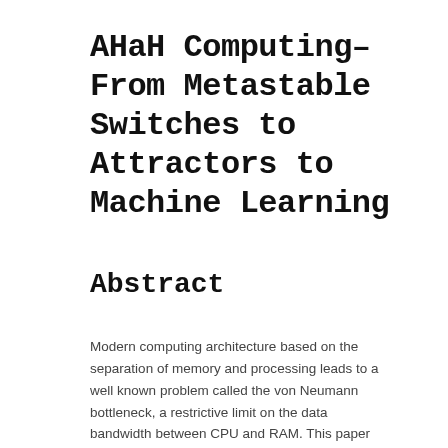AHaH Computing–From Metastable Switches to Attractors to Machine Learning
Abstract
Modern computing architecture based on the separation of memory and processing leads to a well known problem called the von Neumann bottleneck, a restrictive limit on the data bandwidth between CPU and RAM. This paper introduces a new approach to